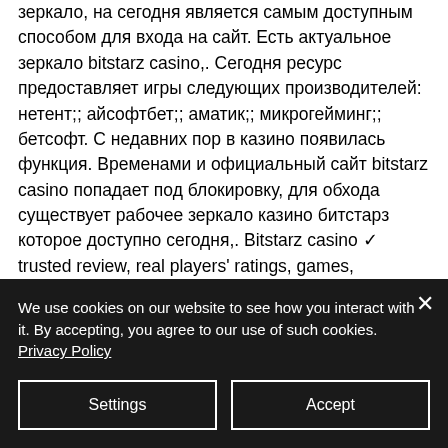зеркало, на сегодня является самым доступным способом для входа на сайт. Есть актуальное зеркало bitstarz casino,. Сегодня ресурс предоставляет игры следующих производителей: нетент;; айсофтбет;; аматик;; микрогейминг;; бетсофт. С недавних пор в казино появилась функция. Временами и официальный сайт bitstarz casino попадает под блокировку, для обхода существует рабочее зеркало казино битстарз которое доступно сегодня,. Bitstarz casino ✓ trusted review, real players' ratings, games, complaints, bonus codes ✓
We use cookies on our website to see how you interact with it. By accepting, you agree to our use of such cookies. Privacy Policy